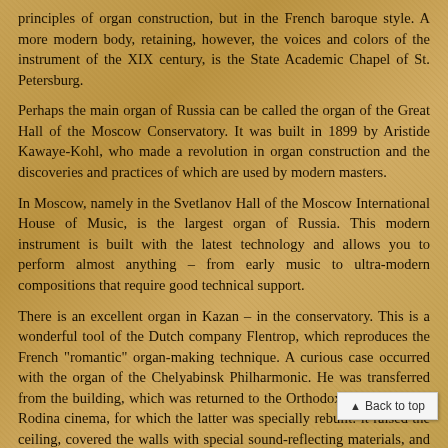principles of organ construction, but in the French baroque style. A more modern body, retaining, however, the voices and colors of the instrument of the XIX century, is the State Academic Chapel of St. Petersburg.
Perhaps the main organ of Russia can be called the organ of the Great Hall of the Moscow Conservatory. It was built in 1899 by Aristide Kawaye-Kohl, who made a revolution in organ construction and the discoveries and practices of which are used by modern masters.
In Moscow, namely in the Svetlanov Hall of the Moscow International House of Music, is the largest organ of Russia. This modern instrument is built with the latest technology and allows you to perform almost anything – from early music to ultra-modern compositions that require good technical support.
There is an excellent organ in Kazan – in the conservatory. This is a wonderful tool of the Dutch company Flentrop, which reproduces the French "romantic" organ-making technique. A curious case occurred with the organ of the Chelyabinsk Philharmonic. He was transferred from the building, which was returned to the Orthodox Church, to the Rodina cinema, for which the latter was specially rebuilt: it raised the ceiling, covered the walls with special sound-reflecting materials, and created a niche. Today in Russia, almost every year a new bo built, and this is great – after all, with the development of technologies and instruments, music itself is